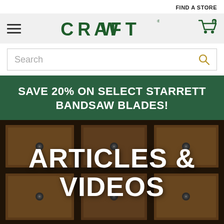FIND A STORE
[Figure (logo): Woodcraft logo with hamburger menu icon on left and shopping cart icon on right in a light gray navigation bar]
Search
SAVE 20% ON SELECT STARRETT BANDSAW BLADES!
[Figure (photo): Photo of wooden cabinet with six drawers arranged in a 2x3 grid, with metal knobs, overlaid with bold white text 'ARTICLES & VIDEOS']